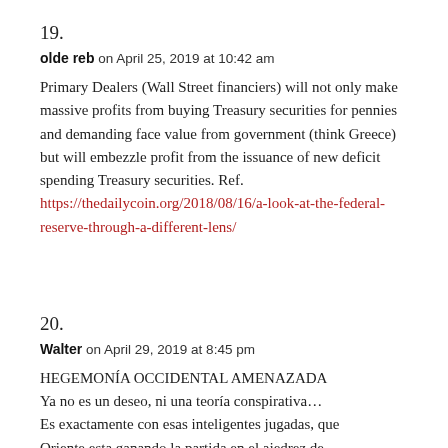19.
olde reb on April 25, 2019 at 10:42 am
Primary Dealers (Wall Street financiers) will not only make massive profits from buying Treasury securities for pennies and demanding face value from government (think Greece) but will embezzle profit from the issuance of new deficit spending Treasury securities. Ref. https://thedailycoin.org/2018/08/16/a-look-at-the-federal-reserve-through-a-different-lens/
20.
Walter on April 29, 2019 at 8:45 pm
HEGEMONÍA OCCIDENTAL AMENAZADA
Ya no es un deseo, ni una teoría conspirativa…
Es exactamente con esas inteligentes jugadas, que
Oriente esta ganando la partida en el ajedrez de